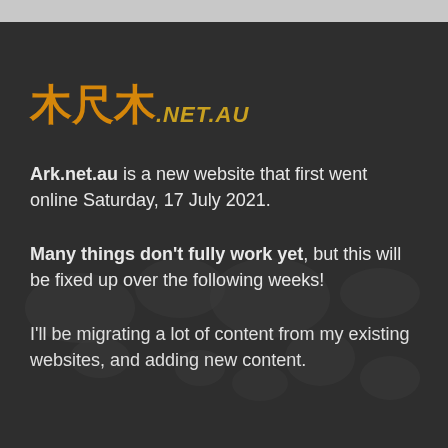[Figure (logo): Ark.net.au logo with stylized kanji characters in orange-gold and '.NET.AU' text in gold italic]
Ark.net.au is a new website that first went online Saturday, 17 July 2021.
Many things don't fully work yet, but this will be fixed up over the following weeks!
I'll be migrating a lot of content from my existing websites, and adding new content.